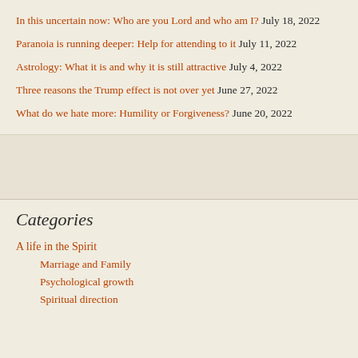In this uncertain now: Who are you Lord and who am I?  July 18, 2022
Paranoia is running deeper: Help for attending to it  July 11, 2022
Astrology: What it is and why it is still attractive  July 4, 2022
Three reasons the Trump effect is not over yet  June 27, 2022
What do we hate more: Humility or Forgiveness?  June 20, 2022
Categories
A life in the Spirit
Marriage and Family
Psychological growth
Spiritual direction